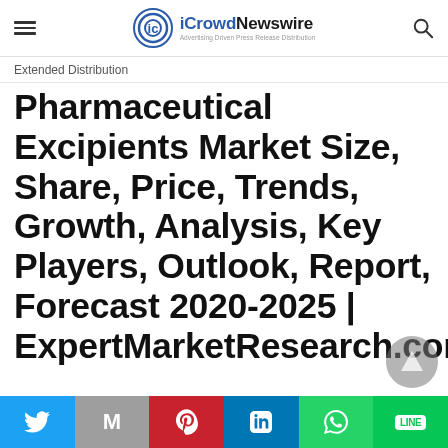iCrowdNewswire — Advertising Driven Press Release Distribution
Extended Distribution
Pharmaceutical Excipients Market Size, Share, Price, Trends, Growth, Analysis, Key Players, Outlook, Report, Forecast 2020-2025 | ExpertMarketResearch.com
Social share buttons: Twitter, Mail, Pinterest, LinkedIn, WhatsApp, LINE